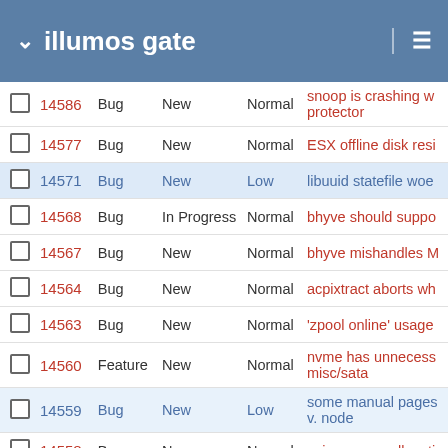illumos gate
|  | # | Type | Status | Priority | Subject |
| --- | --- | --- | --- | --- | --- |
|  | 14586 | Bug | New | Normal | snoop is crashing w protector |
|  | 14577 | Bug | New | Normal | ESX offline disk resi |
|  | 14571 | Bug | New | Low | libuuid statefile woe |
|  | 14568 | Bug | In Progress | Normal | bhyve should suppo |
|  | 14567 | Bug | New | Normal | bhyve mishandles M |
|  | 14564 | Bug | New | Normal | acpixtract aborts wh |
|  | 14563 | Bug | New | Normal | 'zpool online' usage |
|  | 14560 | Feature | New | Normal | nvme has unnecess misc/sata |
|  | 14559 | Bug | New | Low | some manual pages v. node |
|  | 14558 | Bug | New | Normal | pci resource allocati |